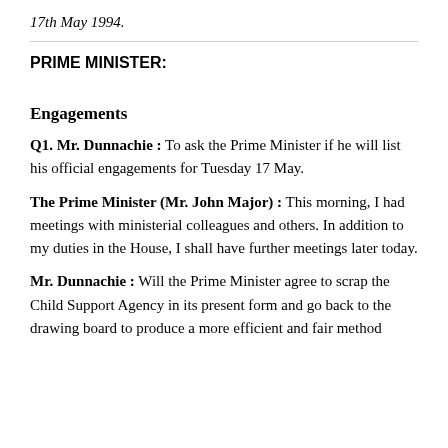17th May 1994.
PRIME MINISTER:
Engagements
Q1. Mr. Dunnachie : To ask the Prime Minister if he will list his official engagements for Tuesday 17 May.
The Prime Minister (Mr. John Major) : This morning, I had meetings with ministerial colleagues and others. In addition to my duties in the House, I shall have further meetings later today.
Mr. Dunnachie : Will the Prime Minister agree to scrap the Child Support Agency in its present form and go back to the drawing board to produce a more efficient and fair method